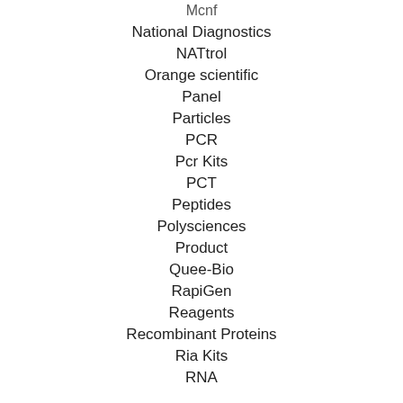Mcnf
National Diagnostics
NATtrol
Orange scientific
Panel
Particles
PCR
Pcr Kits
PCT
Peptides
Polysciences
Product
Quee-Bio
RapiGen
Reagents
Recombinant Proteins
Ria Kits
RNA